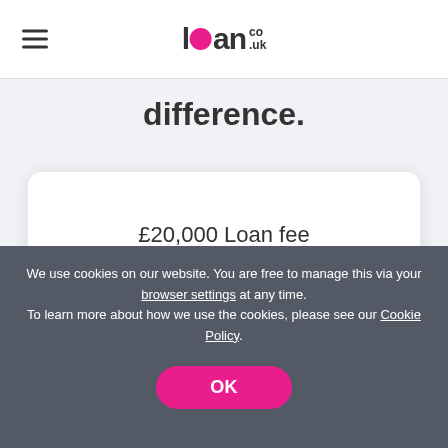loan.co.uk
difference.
|  | £20,000 Loan fee |
| --- | --- |
| Loan.co.uk | £1,080 |
| Fluent Money | £2,400 |
We use cookies on our website. You are free to manage this via your browser settings at any time. To learn more about how we use the cookies, please see our Cookie Policy.